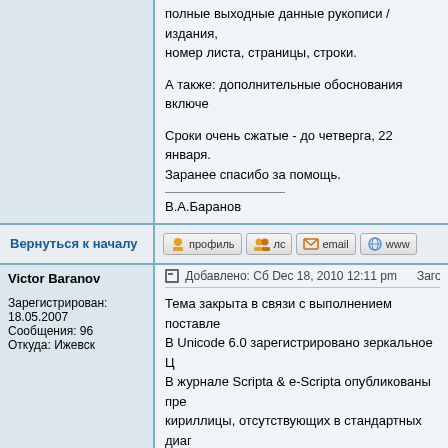полные выходные данные рукописи / издания, номер листа, страницы, строки.
А также: дополнительные обоснования включе
Сроки очень сжатые - до четверга, 22 января. Заранее спасибо за помощь.
В.А.Баранов
Вернуться к началу
профиль  лс  email  www
Victor Baranov
Добавлено: Сб Dec 18, 2010 12:11 pm   Заголовок соо
Зарегистрирован: 18.05.2007
Сообщения: 96
Откуда: Ижевск
Тема закрыта в связи с выполнением поставле В Unicode 6.0 зарегистровано зеркальное Ц В журнале Scripta & e-Scripta опубликованы пре кириллицы, отсутствующих в стандартных диаг Victor Baranov, David J. Birnbaum, Ralph Clemins of Early Cyrillic glyphs in the Unicode Private Use Mediaeval Studies. Vol. 8-9. – Sofia : "Boyan Pene 26. – ISSN 1312-238X. В настоящее время необходимо продолжить ра